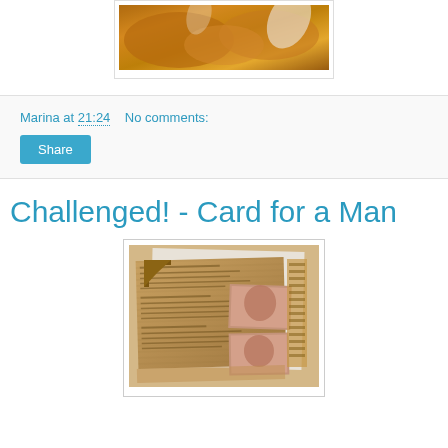[Figure (photo): Close-up photo of fried/baked food items (pastries or fritters) with a white paper or napkin visible]
Marina at 21:24    No comments:
[Figure (other): Share button]
Challenged! - Card for a Man
[Figure (photo): Handmade card with vintage newspaper background and old portrait photographs, decorated with brown kraft paper and a wooden corner piece]